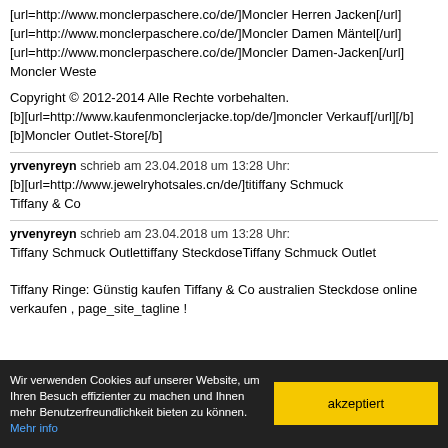[url=http://www.monclerpaschere.co/de/]Moncler Herren Jacken[/url]
[url=http://www.monclerpaschere.co/de/]Moncler Damen Mäntel[/url]
[url=http://www.monclerpaschere.co/de/]Moncler Damen-Jacken[/url]
Moncler Weste
Copyright © 2012-2014 Alle Rechte vorbehalten.
[b][url=http://www.kaufenmonclerjacke.top/de/]moncler Verkauf[/url][/b]
[b]Moncler Outlet-Store[/b]
yrvenyreyn schrieb am 23.04.2018 um 13:28 Uhr:
[b][url=http://www.jewelryhotsales.cn/de/]titiffany Schmuck
Tiffany & Co
yrvenyreyn schrieb am 23.04.2018 um 13:28 Uhr:
Tiffany Schmuck Outlettiffany SteckdoseTiffany Schmuck Outlet

Tiffany Ringe: Günstig kaufen Tiffany & Co australien Steckdose online verkaufen , page_site_tagline !
Wir verwenden Cookies auf unserer Website, um Ihren Besuch effizienter zu machen und Ihnen mehr Benutzerfreundlichkeit bieten zu können. Mehr info